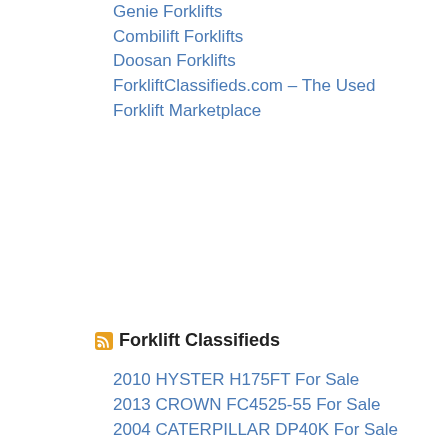Genie Forklifts
Combilift Forklifts
Doosan Forklifts
ForkliftClassifieds.com – The Used Forklift Marketplace
Forklift Classifieds
2010 HYSTER H175FT For Sale
2013 CROWN FC4525-55 For Sale
2004 CATERPILLAR DP40K For Sale
2013 TOYOTA 7FDU35 For Sale
HYSTER H210XL For Sale
2014 HYSTER H110FT For Sale
2016 CATERPILLAR 2C6000 For Sale
2015 TOYOTA 8FDU45 For Sale
2018 CATERPILLAR GC55K For Sale
2000 HYSTER H360XL For Sale
2012 CROWN SHR5540-35 For Sale
2017 HYSTER S50FT For Sale
2007 NISSAN MUG1F2A30LV For Sale